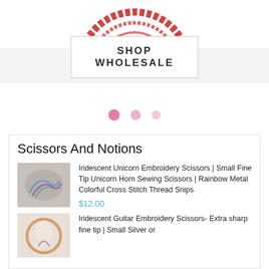[Figure (logo): Partial red circular stamp/logo at top of page]
[Figure (other): SHOP WHOLESALE button/banner with gray side backgrounds]
[Figure (other): Three pink dot carousel indicators]
Scissors And Notions
[Figure (photo): Photo of iridescent unicorn embroidery scissors on fabric background]
Iridescent Unicorn Embroidery Scissors | Small Fine Tip Unicorn Horn Sewing Scissors | Rainbow Metal Colorful Cross Stitch Thread Snips
$12.00
[Figure (photo): Photo of iridescent guitar embroidery scissors with embroidery hoop]
Iridescent Guitar Embroidery Scissors- Extra sharp fine tip | Small Silver or